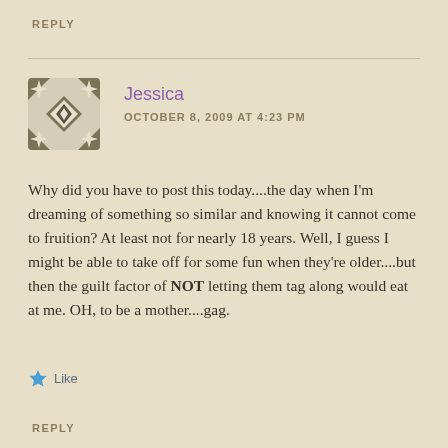REPLY
Jessica
OCTOBER 8, 2009 AT 4:23 PM
Why did you have to post this today....the day when I'm dreaming of something so similar and knowing it cannot come to fruition? At least not for nearly 18 years. Well, I guess I might be able to take off for some fun when they're older....but then the guilt factor of NOT letting them tag along would eat at me. OH, to be a mother....gag.
Like
REPLY